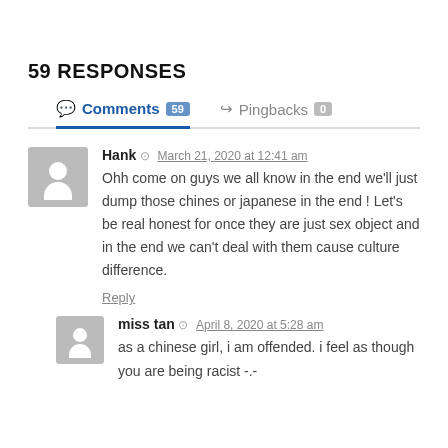59 RESPONSES
Comments 59   Pingbacks 0
Hank  March 21, 2020 at 12:41 am
Ohh come on guys we all know in the end we'll just dump those chines or japanese in the end ! Let's be real honest for once they are just sex object and in the end we can't deal with them cause culture difference.
Reply
miss tan  April 8, 2020 at 5:28 am
as a chinese girl, i am offended. i feel as though you are being racist -.-